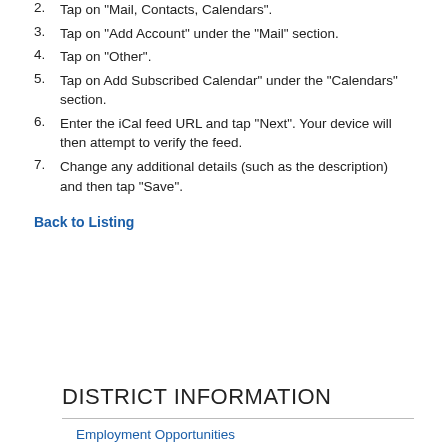2. Tap on "Mail, Contacts, Calendars".
3. Tap on "Add Account" under the "Mail" section.
4. Tap on "Other".
5. Tap on Add Subscribed Calendar" under the "Calendars" section.
6. Enter the iCal feed URL and tap "Next". Your device will then attempt to verify the feed.
7. Change any additional details (such as the description) and then tap "Save".
Back to Listing
DISTRICT INFORMATION
Employment Opportunities